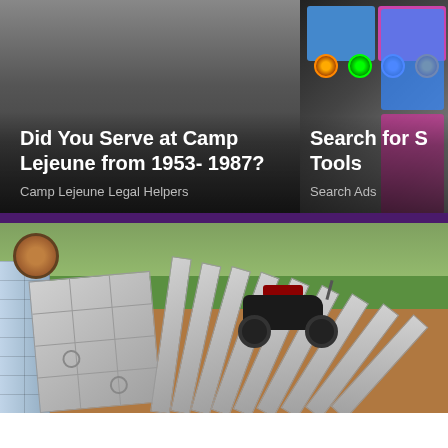[Figure (photo): Left advertisement card with dark gray gradient background. Bold white text reads 'Did You Serve at Camp Lejeune from 1953- 1987?' with gray subtext 'Camp Lejeune Legal Helpers'.]
[Figure (photo): Right advertisement card with dark background showing colorful audio/software mixing interface. Bold white text reads 'Search for S... Tools' (partially cropped) with gray subtext 'Search Ads'.]
[Figure (photo): Outdoor construction photo showing stacked concrete slabs leaning against each other, a motorcycle in the background, green grass, reddish-brown dirt ground, and a blue-gray concrete block wall on the left.]